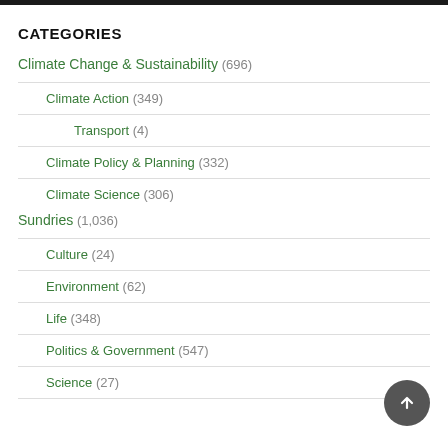CATEGORIES
Climate Change & Sustainability (696)
Climate Action (349)
Transport (4)
Climate Policy & Planning (332)
Climate Science (306)
Sundries (1,036)
Culture (24)
Environment (62)
Life (348)
Politics & Government (547)
Science (27)